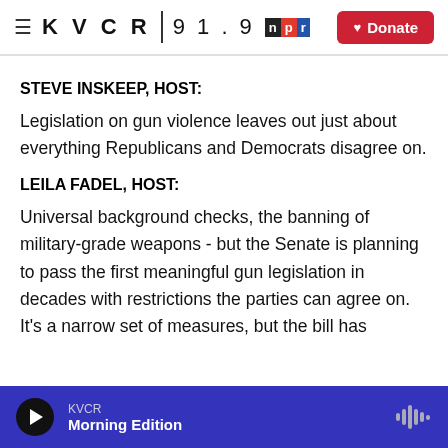KVCR 91.9 npr | Donate
STEVE INSKEEP, HOST:
Legislation on gun violence leaves out just about everything Republicans and Democrats disagree on.
LEILA FADEL, HOST:
Universal background checks, the banning of military-grade weapons - but the Senate is planning to pass the first meaningful gun legislation in decades with restrictions the parties can agree on. It's a narrow set of measures, but the bill has
KVCR Morning Edition